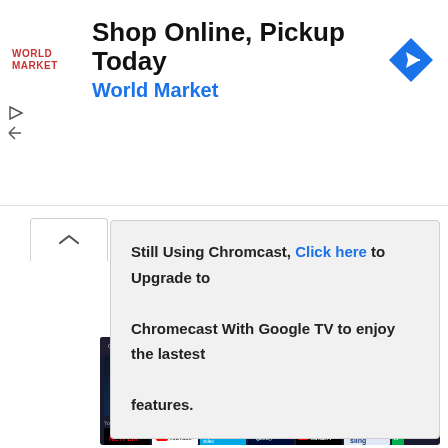[Figure (screenshot): World Market advertisement banner: 'Shop Online, Pickup Today / World Market' with World Market logo and navigation icon]
Still Using Chromcast, Click here to Upgrade to Chromecast With Google TV to enjoy the lastest features.
[Figure (screenshot): Google TV home screen showing Disney+, HBO Max, Netflix, YouTube, Prime Video, Disney+, YouTube TV, Sling app icons in dark theme]